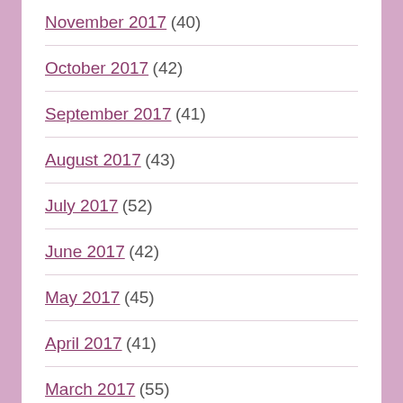November 2017 (40)
October 2017 (42)
September 2017 (41)
August 2017 (43)
July 2017 (52)
June 2017 (42)
May 2017 (45)
April 2017 (41)
March 2017 (55)
February 2017 (48)
January 2017 (?)